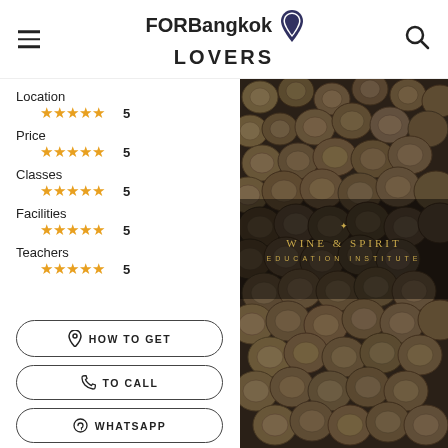FOR Bangkok LOVERS
Location ★★★★★ 5
Price ★★★★★ 5
Classes ★★★★★ 5
Facilities ★★★★★ 5
Teachers ★★★★★ 5
[Figure (photo): Wine & Spirit Education Institute - photo of wine corks, dark background with gold text overlay]
HOW TO GET
TO CALL
WHATSAPP